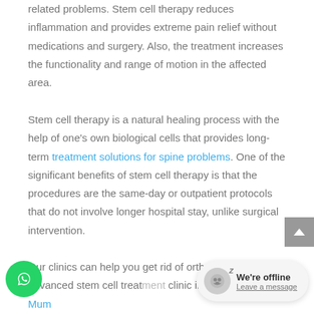related problems. Stem cell therapy reduces inflammation and provides extreme pain relief without medications and surgery. Also, the treatment increases the functionality and range of motion in the affected area.
Stem cell therapy is a natural healing process with the help of one's own biological cells that provides long-term treatment solutions for spine problems. One of the significant benefits of stem cell therapy is that the procedures are the same-day or outpatient protocols that do not involve longer hospital stay, unlike surgical intervention.
Our clinics can help you get rid of orthopedic pain with advanced stem cell treat[ment at our] clinic in Hyderabad and Mum[bai]